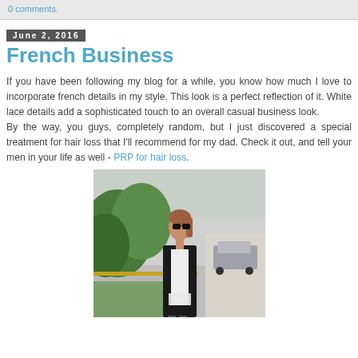0 comments.
June 2, 2016
French Business
If you have been following my blog for a while, you know how much I love to incorporate french details in my style. This look is a perfect reflection of it. White lace details add a sophisticated touch to an overall casual business look.
By the way, you guys, completely random, but I just discovered a special treatment for hair loss that I'll recommend for my dad. Check it out, and tell your men in your life as well - PRP for hair loss.
[Figure (photo): Woman standing on a street sidewalk wearing sunglasses, a black blazer over a white lace top, with tropical greenery and parked cars in the background.]